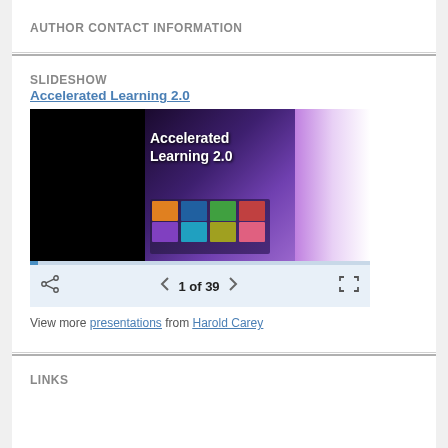AUTHOR CONTACT INFORMATION
SLIDESHOW
Accelerated Learning 2.0
[Figure (screenshot): Slideshow embed showing 'Accelerated Learning 2.0' presentation with navigation controls showing '1 of 39']
View more presentations from Harold Carey
LINKS